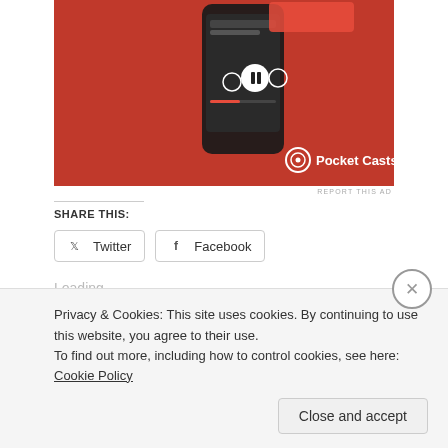[Figure (photo): Pocket Casts advertisement showing a smartphone with the app interface on a red background, with the Pocket Casts logo (circular icon and white text) in the bottom right.]
REPORT THIS AD
SHARE THIS:
Twitter
Facebook
Loading...
Privacy & Cookies: This site uses cookies. By continuing to use this website, you agree to their use.
To find out more, including how to control cookies, see here: Cookie Policy
Close and accept